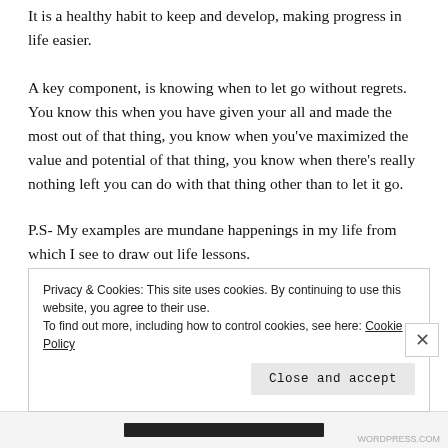It is a healthy habit to keep and develop, making progress in life easier.
A key component, is knowing when to let go without regrets. You know this when you have given your all and made the most out of that thing, you know when you've maximized the value and potential of that thing, you know when there's really nothing left you can do with that thing other than to let it go.
P.S- My examples are mundane happenings in my life from which I see to draw out life lessons.
N.B- Life teaches us lessons from our seemingly mundane
Privacy & Cookies: This site uses cookies. By continuing to use this website, you agree to their use.
To find out more, including how to control cookies, see here: Cookie Policy
Close and accept